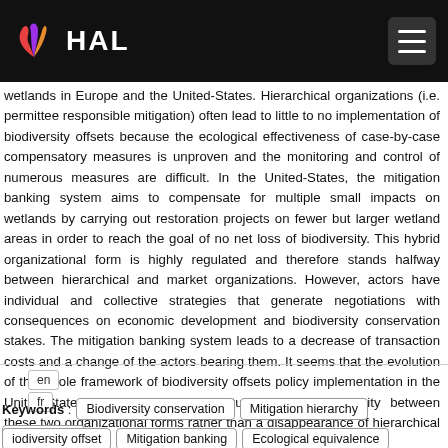HAL
wetlands in Europe and the United-States. Hierarchical organizations (i.e. permittee responsible mitigation) often lead to little to no implementation of biodiversity offsets because the ecological effectiveness of case-by-case compensatory measures is unproven and the monitoring and control of numerous measures are difficult. In the United-States, the mitigation banking system aims to compensate for multiple small impacts on wetlands by carrying out restoration projects on fewer but larger wetland areas in order to reach the goal of no net loss of biodiversity. This hybrid organizational form is highly regulated and therefore stands halfway between hierarchical and market organizations. However, actors have individual and collective strategies that generate negotiations with consequences on economic development and biodiversity conservation stakes. The mitigation banking system leads to a decrease of transaction costs and a change of the actors bearing them. It seems that the evolution of the whole framework of biodiversity offsets policy implementation in the United-States leans toward an institutional complementarity between these two organizational forms rather than a disappearance of hierarchical organizations.
en
fr
Keywords : Biodiversity conservation, Mitigation hierarchy, No net loss, Biodiversity offset, Mitigation banking, Ecological equivalence, Marine renewable energy (offshore windfarms), New institutional economics